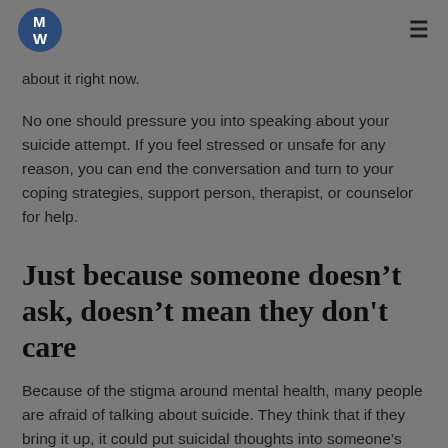MW [logo] [hamburger menu]
about it right now.
No one should pressure you into speaking about your suicide attempt. If you feel stressed or unsafe for any reason, you can end the conversation and turn to your coping strategies, support person, therapist, or counselor for help.
Just because someone doesn’t ask, doesn’t mean they don't care
Because of the stigma around mental health, many people are afraid of talking about suicide. They think that if they bring it up, it could put suicidal thoughts into someone’s head or cause them to make another attempt. There’s a very good chance that if people aren’t asking